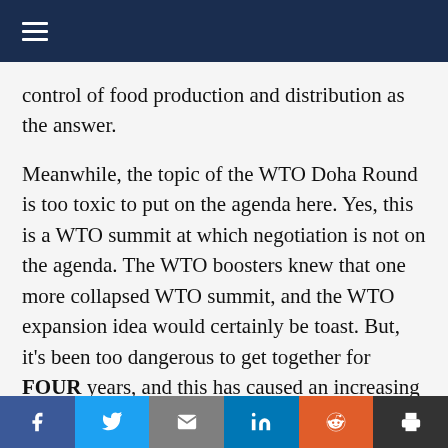control of food production and distribution as the answer.
Meanwhile, the topic of the WTO Doha Round is too toxic to put on the agenda here. Yes, this is a WTO summit at which negotiation is not on the agenda. The WTO boosters knew that one more collapsed WTO summit, and the WTO expansion idea would certainly be toast. But, it's been too dangerous to get together for FOUR years, and this has caused an increasing crisis of legitimacy for WTO which is supposed to met biannually in a conference of minister-level